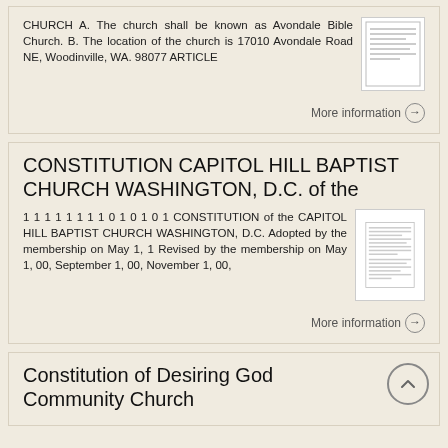CHURCH A. The church shall be known as Avondale Bible Church. B. The location of the church is 17010 Avondale Road NE, Woodinville, WA. 98077 ARTICLE
More information →
CONSTITUTION CAPITOL HILL BAPTIST CHURCH WASHINGTON, D.C. of the
1 1 1 1 1 1 1 1 0 1 0 1 0 1 CONSTITUTION of the CAPITOL HILL BAPTIST CHURCH WASHINGTON, D.C. Adopted by the membership on May 1, 1 Revised by the membership on May 1, 00, September 1, 00, November 1, 00,
More information →
Constitution of Desiring God Community Church